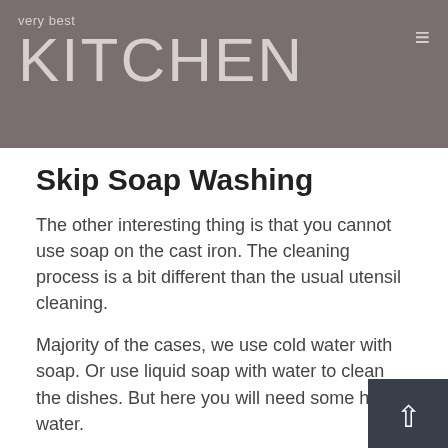very best KITCHEN
Skip Soap Washing
The other interesting thing is that you cannot use soap on the cast iron. The cleaning process is a bit different than the usual utensil cleaning.
Majority of the cases, we use cold water with soap. Or use liquid soap with water to clean the dishes. But here you will need some hot water.